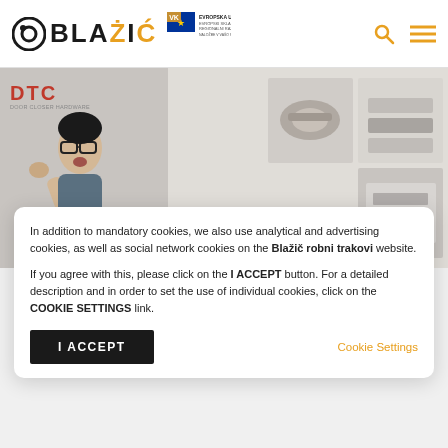BLAŽIČ — Blazic robni trakovi website header with EU logo, search and menu icons
[Figure (screenshot): Website banner showing DTC brand logo on left, a man with glasses celebrating (fist pump), hardware product images (hinges, drawer systems) on the right side of the banner]
In addition to mandatory cookies, we also use analytical and advertising cookies, as well as social network cookies on the Blažič robni trakovi website.
If you agree with this, please click on the I ACCEPT button. For a detailed description and in order to set the use of individual cookies, click on the COOKIE SETTINGS link.
I ACCEPT
Cookie Settings